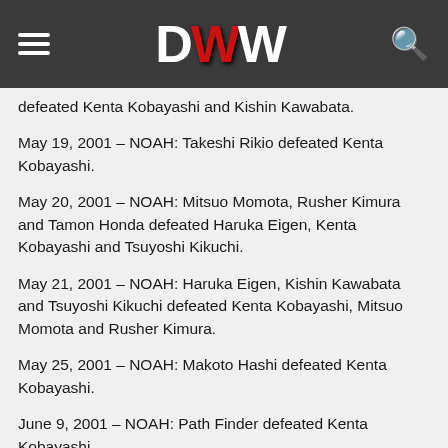DWW
defeated Kenta Kobayashi and Kishin Kawabata.
May 19, 2001 – NOAH: Takeshi Rikio defeated Kenta Kobayashi.
May 20, 2001 – NOAH: Mitsuo Momota, Rusher Kimura and Tamon Honda defeated Haruka Eigen, Kenta Kobayashi and Tsuyoshi Kikuchi.
May 21, 2001 – NOAH: Haruka Eigen, Kishin Kawabata and Tsuyoshi Kikuchi defeated Kenta Kobayashi, Mitsuo Momota and Rusher Kimura.
May 25, 2001 – NOAH: Makoto Hashi defeated Kenta Kobayashi.
June 9, 2001 – NOAH: Path Finder defeated Kenta Kobayashi.
July 18, 2001 – NOAH: Donovan Morgan and Michael Modest defeated KENTA and Naomichi Marufuji.